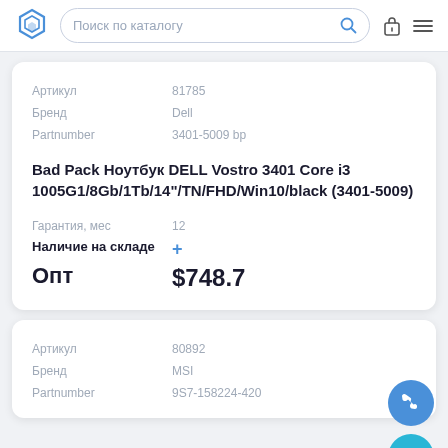Поиск по каталогу
| Field | Value |
| --- | --- |
| Артикул | 81785 |
| Бренд | Dell |
| Partnumber | 3401-5009 bp |
Bad Pack Ноутбук DELL Vostro 3401 Core i3 1005G1/8Gb/1Tb/14"/TN/FHD/Win10/black (3401-5009)
| Field | Value |
| --- | --- |
| Гарантия, мес | 12 |
| Наличие на складе | + |
| Опт | $748.7 |
| Field | Value |
| --- | --- |
| Артикул | 80892 |
| Бренд | MSI |
| Partnumber | 9S7-158224-420 |